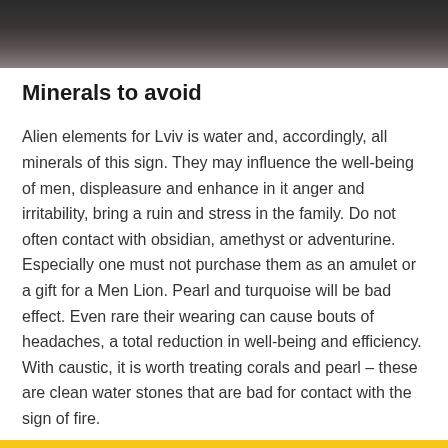[Figure (photo): Partial photo of a person, showing dark background with blurred head/hair at the top of the page]
Minerals to avoid
Alien elements for Lviv is water and, accordingly, all minerals of this sign. They may influence the well-being of men, displeasure and enhance in it anger and irritability, bring a ruin and stress in the family. Do not often contact with obsidian, amethyst or adventurine. Especially one must not purchase them as an amulet or a gift for a Men Lion. Pearl and turquoise will be bad effect. Even rare their wearing can cause bouts of headaches, a total reduction in well-being and efficiency. With caustic, it is worth treating corals and pearl – these are clean water stones that are bad for contact with the sign of fire.